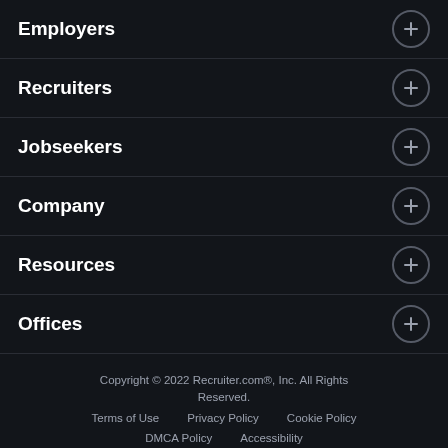Employers
Recruiters
Jobseekers
Company
Resources
Offices
Copyright © 2022 Recruiter.com®, Inc. All Rights Reserved.
Terms of Use   Privacy Policy   Cookie Policy
DMCA Policy   Accessibility